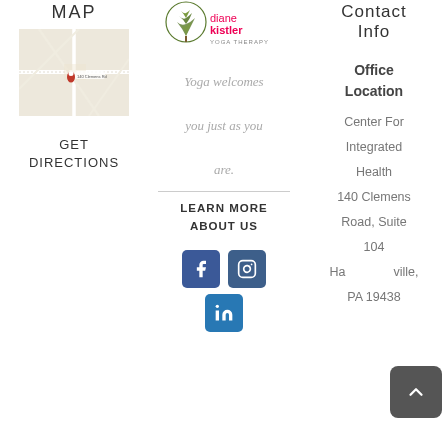MAP
[Figure (map): Google Maps screenshot showing 140 Clemens Road location with red pin marker]
GET DIRECTIONS
[Figure (logo): Diane Kistler Yoga Therapy logo with green tree and text]
Yoga welcomes you just as you are.
LEARN MORE ABOUT US
[Figure (infographic): Social media icons: Facebook, Instagram, LinkedIn]
Contact Info
Office Location
Center For Integrated Health 140 Clemens Road, Suite 104 Harleysville, PA 19438